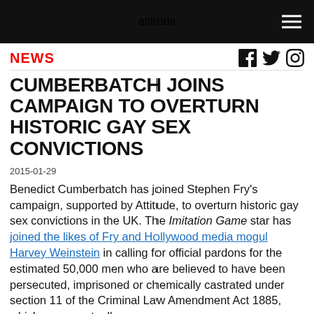attitude
NEWS
CUMBERBATCH JOINS CAMPAIGN TO OVERTURN HISTORIC GAY SEX CONVICTIONS
2015-01-29
Benedict Cumberbatch has joined Stephen Fry's campaign, supported by Attitude, to overturn historic gay sex convictions in the UK. The Imitation Game star has joined the likes of Fry and Hollywood media mogul Harvey Weinstein in calling for official pardons for the estimated 50,000 men who are believed to have been persecuted, imprisoned or chemically castrated under section 11 of the Criminal Law Amendment Act 1885, which was eventually overturned in 1967. [benedict] In a letter to the Hollywood reporter, the Sherlock star said: "Alan Turing was not only prosecuted, but quite arguably persuaded to end his own life early, by a society who